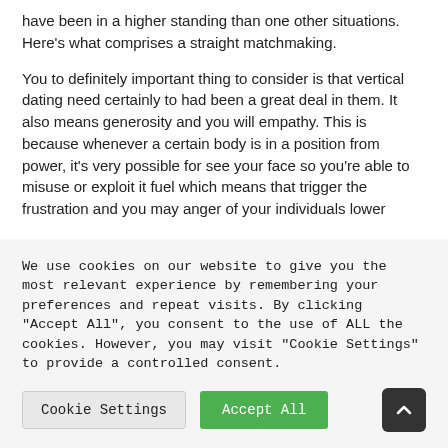have been in a higher standing than one other situations. Here's what comprises a straight matchmaking.
You to definitely important thing to consider is that vertical dating need certainly to had been a great deal in them. It also means generosity and you will empathy. This is because whenever a certain body is in a position from power, it's very possible for see your face so you're able to misuse or exploit it fuel which means that trigger the frustration and you may anger of your individuals lower
We use cookies on our website to give you the most relevant experience by remembering your preferences and repeat visits. By clicking "Accept All", you consent to the use of ALL the cookies. However, you may visit "Cookie Settings" to provide a controlled consent.